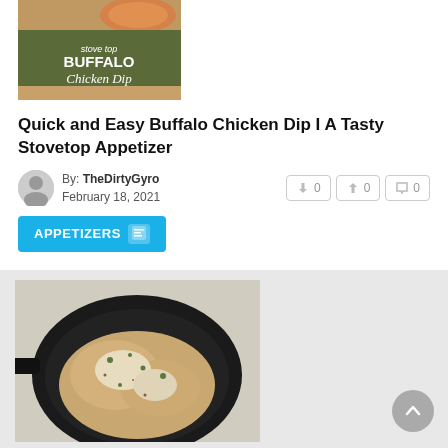[Figure (photo): Thumbnail image for Buffalo Chicken Dip article with olive green background and bold white text reading 'stove top BUFFALO Chicken Dip']
Quick and Easy Buffalo Chicken Dip I A Tasty Stovetop Appetizer
By: TheDirtyGyro February 18, 2021
👍 0  👎 0  💬 0
APPETIZERS
[Figure (photo): Food photo of buffalo chicken dip in a black cast iron skillet, showing cheesy chicken pieces with herbs on a light stone surface]